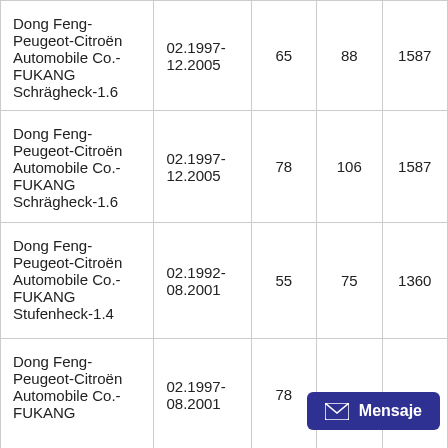| Dong Feng-Peugeot-Citroën Automobile Co.-FUKANG Schrägheck-1.6 | 02.1997-12.2005 | 65 | 88 | 1587 |
| Dong Feng-Peugeot-Citroën Automobile Co.-FUKANG Schrägheck-1.6 | 02.1997-12.2005 | 78 | 106 | 1587 |
| Dong Feng-Peugeot-Citroën Automobile Co.-FUKANG Stufenheck-1.4 | 02.1992-08.2001 | 55 | 75 | 1360 |
| Dong Feng-Peugeot-Citroën Automobile Co.-FUKANG | 02.1997-08.2001 | 78 |  |  |